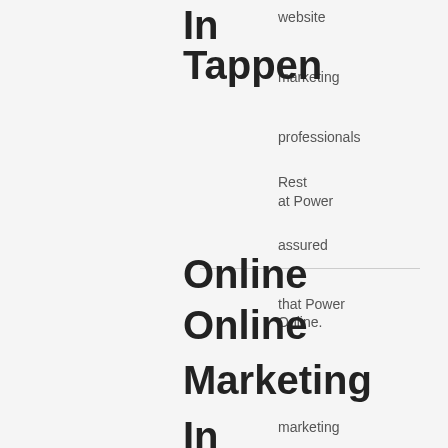In Tappen
website marketing professionals
Rest
at Power
assured
Online
that Power Online.
Online Marketing
In Taylor
marketing
will find
new and
Out
improved
award
ways to
Online Marketing
winning our marketing
In
excepts opportunity.
at Power
Thompson
Online
Our website marketing professionals